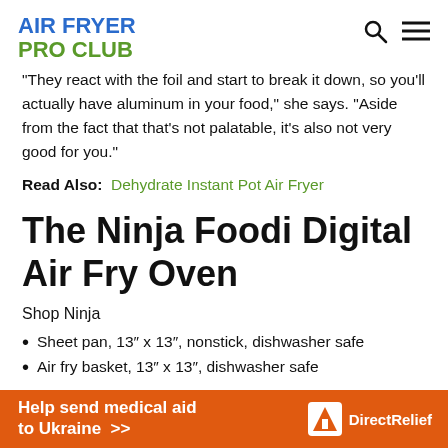AIR FRYER PRO CLUB
“They react with the foil and start to break it down, so you’ll actually have aluminum in your food,” she says. “Aside from the fact that that’s not palatable, it’s also not very good for you.”
Read Also: Dehydrate Instant Pot Air Fryer
The Ninja Foodi Digital Air Fry Oven
Shop Ninja
Sheet pan, 13″ x 13″, nonstick, dishwasher safe
Air fry basket, 13″ x 13″, dishwasher safe
[Figure (other): DirectRelief advertisement banner: Help send medical aid to Ukraine >>]